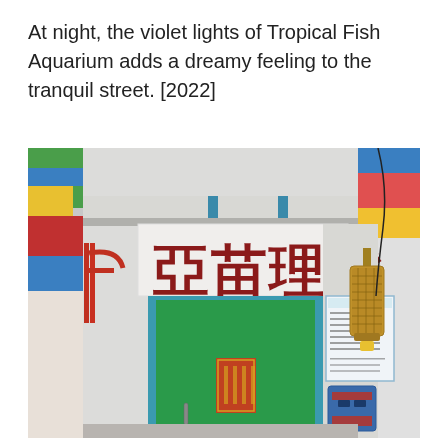At night, the violet lights of Tropical Fish Aquarium adds a dreamy feeling to the tranquil street. [2022]
[Figure (photo): Daytime photograph of a traditional Hong Kong barber shop entrance. A white storefront with large red Chinese characters (亞苗理髮) on a white sign board above a teal/green door with blue frame. Left side shows colorful painted wall in red, blue, yellow, green. Right side shows a decorative brass lantern hanging from the wall, a price list notice board, and a blue mailbox. Red pipes visible on left wall.]